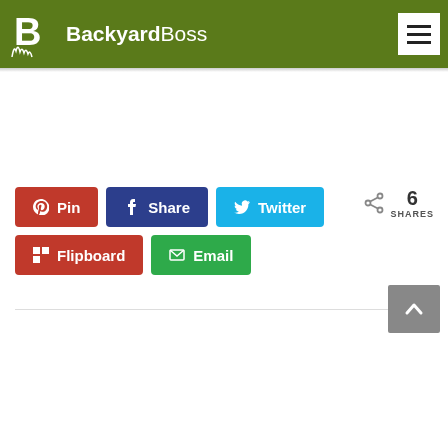[Figure (logo): BackyardBoss logo with white B icon and grass on green background header with hamburger menu]
[Figure (infographic): Social share buttons: Pin (Pinterest, red), Share (Facebook, dark blue), Twitter (light blue), Flipboard (red), Email (green). Share count: 6 SHARES.]